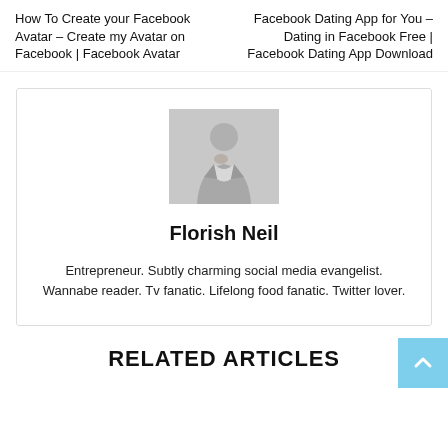How To Create your Facebook Avatar – Create my Avatar on Facebook | Facebook Avatar
Facebook Dating App for You – Dating in Facebook Free | Facebook Dating App Download
[Figure (photo): Author profile photo of Florish Neil — a person in formal attire, greyscale/faded]
Florish Neil
Entrepreneur. Subtly charming social media evangelist. Wannabe reader. Tv fanatic. Lifelong food fanatic. Twitter lover.
RELATED ARTICLES